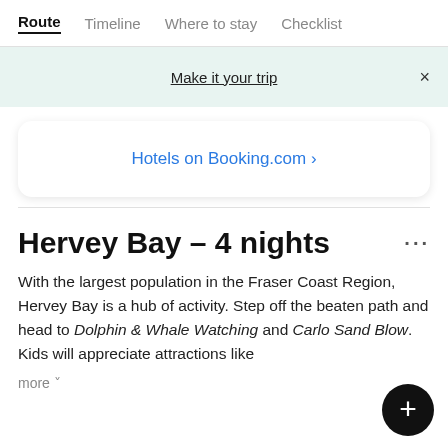Route  Timeline  Where to stay  Checklist
Make it your trip  ×
Hotels on Booking.com ›
Hervey Bay – 4 nights ...
With the largest population in the Fraser Coast Region, Hervey Bay is a hub of activity. Step off the beaten path and head to Dolphin & Whale Watching and Carlo Sand Blow. Kids will appreciate attractions like
more ˅